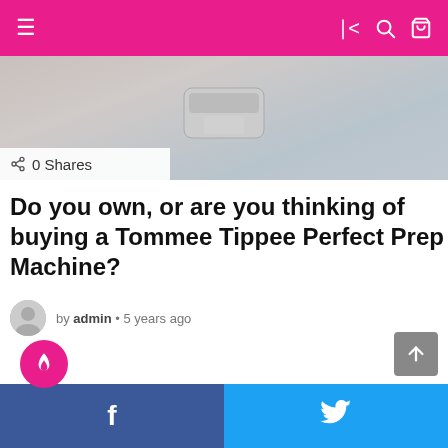Navigation bar with menu, share, search, and cart icons
[Figure (photo): Top portion of a Tommee Tippee Perfect Prep Machine, showing the lid and body in gray/white tones]
0 Shares
Do you own, or are you thinking of buying a Tommee Tippee Perfect Prep Machine?
by admin • 5 years ago
[Figure (other): Large advertisement or content placeholder area with a pink fire icon badge]
Facebook and Twitter share buttons